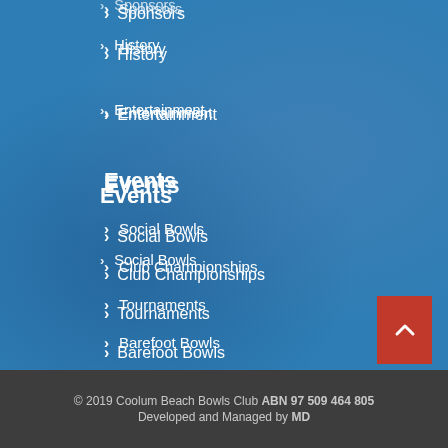Sponsors
History
Entertainment
Events
Social Bowls
Club Championships
Tournaments
Barefoot Bowls
Entry Forms
Calendar
Club Activities
© 2019 Coolum Beach Bowls Club ABN 97 509 464 805 Developed and Managed by MD